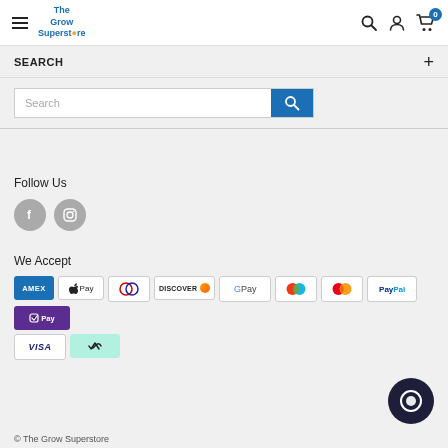The Grow Superstore - navigation header with hamburger menu, logo, search icon, account icon, cart icon (0 items)
SEARCH
Search input box with search button
Follow Us
[Figure (other): Facebook and Instagram social media icons (grey circles)]
We Accept
[Figure (other): Payment method icons: AMEX, Apple Pay, Diners Club, Discover, Google Pay, Maestro, Mastercard, PayPal, ShopPay, Visa, Afterpay]
© The Grow Superstore